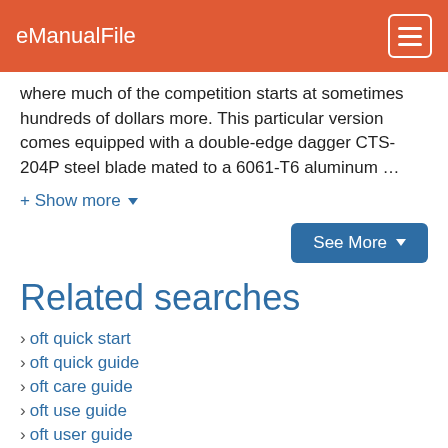eManualFile
where much of the competition starts at sometimes hundreds of dollars more. This particular version comes equipped with a double-edge dagger CTS-204P steel blade mated to a 6061-T6 aluminum …
+ Show more ▾
See More ▾
Related searches
oft quick start
oft quick guide
oft care guide
oft use guide
oft user guide
oft user service
oft service manual
oft how much
oft spec